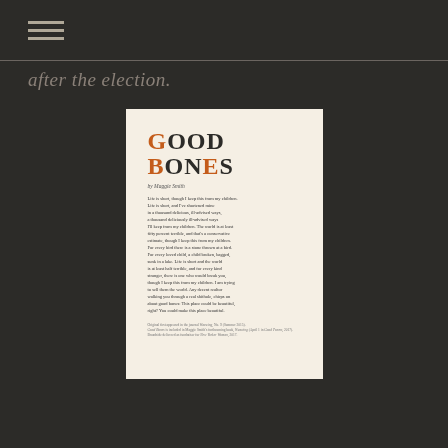≡
after the election.
[Figure (illustration): A decorative broadside print of the poem 'Good Bones' by Maggie Smith on a cream/off-white background, with the title in large bold serif type alternating between orange and black letters, followed by the full text of the poem in small serif type, and a small footer with publication credit information.]